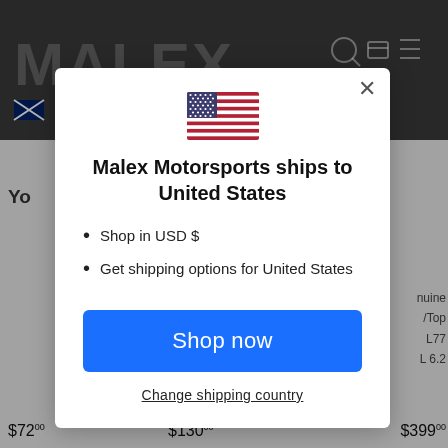[Figure (screenshot): Website background showing Malex Motorsports dark header, grey body, partial text 'Yo', prices $72.00, $130.00, $399.00, and right-column product text (nuine, /Top, L77, L 6.2)]
Malex Motorsports ships to United States
Shop in USD $
Get shipping options for United States
Shop now
Change shipping country